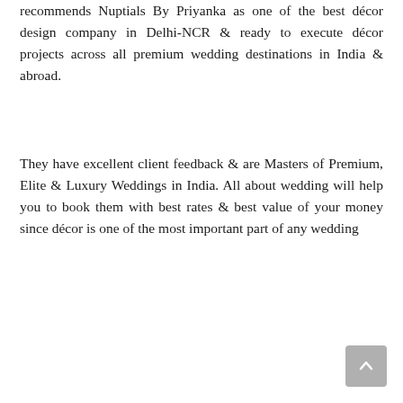recommends Nuptials By Priyanka as one of the best décor design company in Delhi-NCR & ready to execute décor projects across all premium wedding destinations in India & abroad.
They have excellent client feedback & are Masters of Premium, Elite & Luxury Weddings in India. All about wedding will help you to book them with best rates & best value of your money since décor is one of the most important part of any wedding